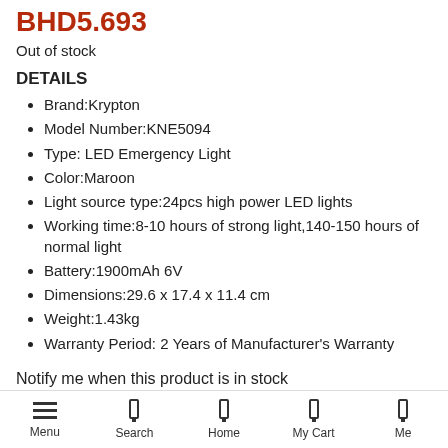BHD5.693
Out of stock
DETAILS
Brand:Krypton
Model Number:KNE5094
Type: LED Emergency Light
Color:Maroon
Light source type:24pcs high power LED lights
Working time:8-10 hours of strong light,140-150 hours of normal light
Battery:1900mAh 6V
Dimensions:29.6 x 17.4 x 11.4 cm
Weight:1.43kg
Warranty Period: 2 Years of Manufacturer's Warranty
Notify me when this product is in stock
Menu  Search  Home  My Cart  Me